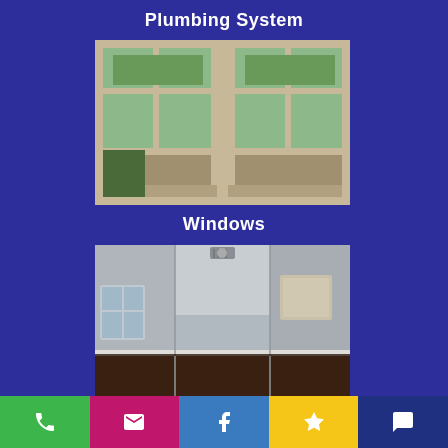Plumbing System
[Figure (photo): Interior room windows with wooden frames and green outdoor view]
Windows
[Figure (photo): Empty room interior with grey walls, dark hardwood flooring, and ceiling with vent]
Walls, Flooring & Ceiling
[Figure (photo): Partial view of decorative hardwood floor pattern]
Phone | Email | Facebook | Favorites | Chat